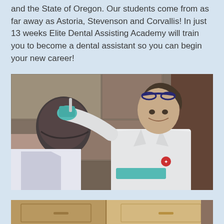and the State of Oregon. Our students come from as far away as Astoria, Stevenson and Corvallis! In just 13 weeks Elite Dental Assisting Academy will train you to become a dental assistant so you can begin your new career!
[Figure (photo): A smiling female dental assistant in a white lab coat working with a patient who is seated in a dental chair and wearing a protective cap. The assistant is wearing teal gloves and the background shows a stone tile wall.]
[Figure (photo): Partial view of what appears to be a dental office or classroom interior, partially visible at the bottom of the page.]